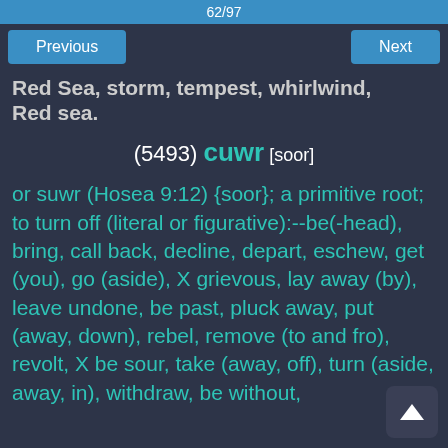62/97
Previous    Next
Red Sea, storm, tempest, whirlwind, Red sea.
(5493) cuwr [soor]
or suwr (Hosea 9:12) {soor}; a primitive root; to turn off (literal or figurative):--be(-head), bring, call back, decline, depart, eschew, get (you), go (aside), X grievous, lay away (by), leave undone, be past, pluck away, put (away, down), rebel, remove (to and fro), revolt, X be sour, take (away, off), turn (aside, away, in), withdraw, be without,